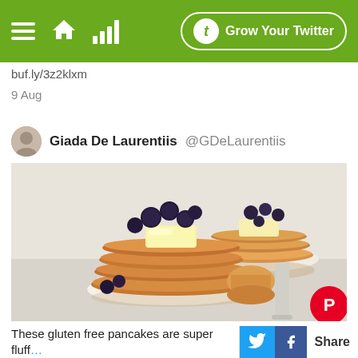Navigation bar with hamburger menu, home icon, signal bars icon, and Grow Your Twitter button
buf.ly/3z2klxm
9 Aug
Giada De Laurentiis @GDeLaurentiis
[Figure (photo): Stack of gluten free quinoa pancakes topped with butter and blueberries on a white plate, with a fork cutting into them. A second smaller stack visible in background. Pinterest badge overlay bottom right.]
These gluten free pancakes are super fluffy and hearty all at once! Quinoa Pancakes REC...